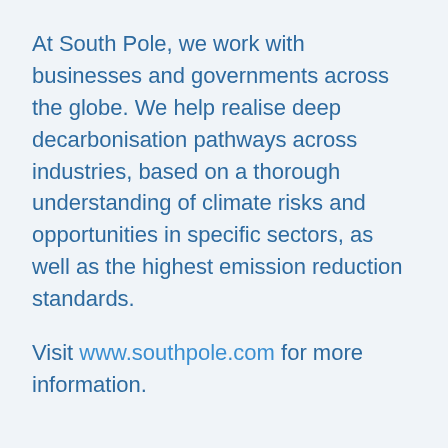At South Pole, we work with businesses and governments across the globe. We help realise deep decarbonisation pathways across industries, based on a thorough understanding of climate risks and opportunities in specific sectors, as well as the highest emission reduction standards.
Visit www.southpole.com for more information.
Founded in 2006
Coworkers 700+